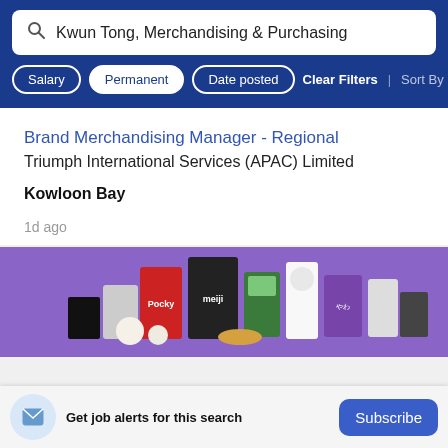Kwun Tong, Merchandising & Purchasing
Salary | Permanent | Date posted | Clear Filters | Sort By Rel
Brand Merchandising Manager - Regional
Triumph International Services (APAC) Limited
Kowloon Bay
1d ago
[Figure (photo): Advertisement banner with purple background showing various snack product boxes including Pocky, Meiji, and other Asian snack brands]
Get job alerts for this search
Subscribe